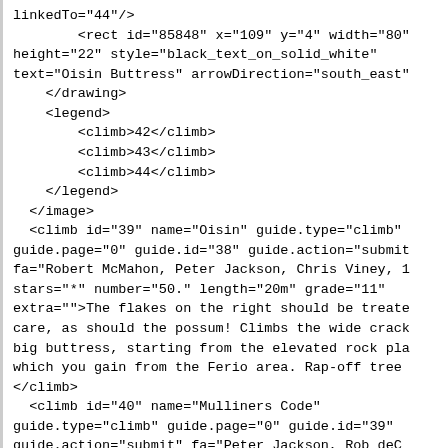linkedTo="44"/>
        <rect id="85848" x="109" y="4" width="80"
height="22" style="black_text_on_solid_white"
text="Oisin Buttress" arrowDirection="south_east"
    </drawing>
    <legend>
        <climb>42</climb>
        <climb>43</climb>
        <climb>44</climb>
    </legend>
  </antml:image>
  <climb id="39" name="Oisin" guide.type="climb"
guide.page="0" guide.id="38" guide.action="submit
fa="Robert McMahon, Peter Jackson, Chris Viney, 1
stars="*" number="50." length="20m" grade="11"
extra="">The flakes on the right should be treate
care, as should the possum! Climbs the wide crack
big buttress, starting from the elevated rock pla
which you gain from the Ferio area. Rap-off tree
</climb>
  <climb id="40" name="Mulliners Code"
guide.type="climb" guide.page="0" guide.id="39"
guide.action="submit" fa="Peter Jackson, Rob deC